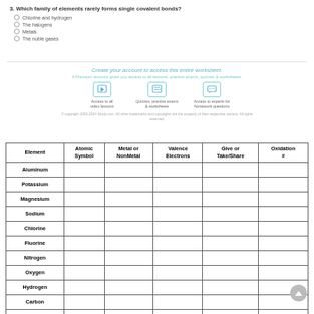3. Which family of elements rarely forms single covalent bonds?
Chlorine and hydrogen
The halogens
Metals
The noble gases
Create your account to access this entire worksheet.
A Premium account gives you access to all lessons, practice exams, quizzes & worksheets.
Access to all video lessons
Quizzes, practice exams & worksheets
Access to experts for homework questions
| Element | Atomic Symbol | Metal or NonMetal | Valence Electrons | Give or Take/Share | Oxidation # |
| --- | --- | --- | --- | --- | --- |
| Aluminum |  |  |  |  |  |
| Potassium |  |  |  |  |  |
| Magnesium |  |  |  |  |  |
| Sodium |  |  |  |  |  |
| Chlorine |  |  |  |  |  |
| Fluorine |  |  |  |  |  |
| Nitrogen |  |  |  |  |  |
| Oxygen |  |  |  |  |  |
| Hydrogen |  |  |  |  |  |
| Carbon |  |  |  |  |  |
| Iodine |  |  |  |  |  |